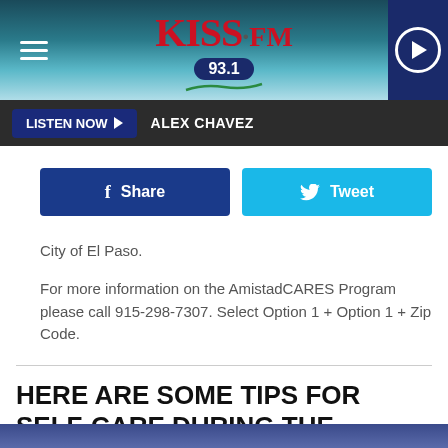[Figure (logo): KISS FM 93.1 radio station logo with teal/blue gradient header, hamburger menu on left, play button on right]
LISTEN NOW ▶   ALEX CHAVEZ
[Figure (screenshot): Facebook Share button (dark blue) and Twitter Tweet button (light blue)]
City of El Paso.
For more information on the AmistadCARES Program please call 915-298-7307. Select Option 1 + Option 1 + Zip Code.
HERE ARE SOME TIPS FOR SELF-CARE DURING THE PANDEMIC:
[Figure (photo): Blue gradient image strip at the bottom of the page]